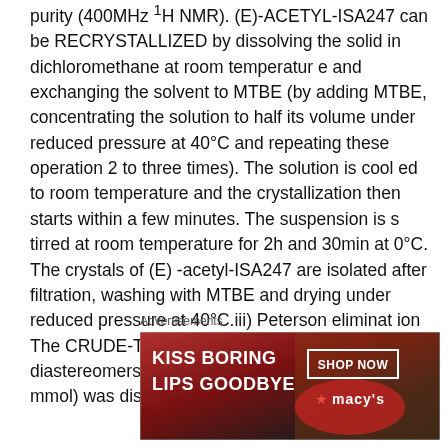purity (400MHz 1H NMR). (E)-ACETYL-ISA247 can be RECRYSTALLIZED by dissolving the solid in dichloromethane at room temperatur e and exchanging the solvent to MTBE (by adding MTBE, concentrating the solution to half its volume under reduced pressure at 40°C and repeating these operation 2 to three times). The solution is cool ed to room temperature and the crystallization then starts within a few minutes. The suspension is s tirred at room temperature for 2h and 30min at 0°C. The crystals of (E) -acetyl-ISA247 are isolated after filtration, washing with MTBE and drying under reduced pressure at 40°C.iii) Peterson eliminat ion The CRUDE-TRIMETHYLSILYALCOHOL diastereomers mixture (11 g, maximum 4.056 mmol) was dissolved in 25
Advertisements
[Figure (photo): Advertisement banner for Macy's with text 'KISS BORING LIPS GOODBYE' on a dark red background with a woman's face, and a 'SHOP NOW' button with Macy's star logo on the right.]